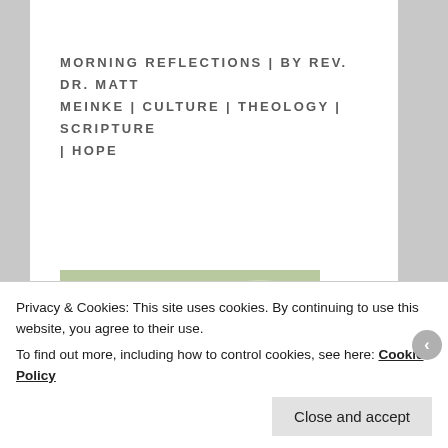MORNING REFLECTIONS | BY REV. DR. MATT MEINKE | CULTURE | THEOLOGY | SCRIPTURE | HOPE
[Figure (photo): A smiling man in white clerical vestments with a colorful stole, holding a small white dog outdoors]
Privacy & Cookies: This site uses cookies. By continuing to use this website, you agree to their use.
To find out more, including how to control cookies, see here: Cookie Policy
Close and accept